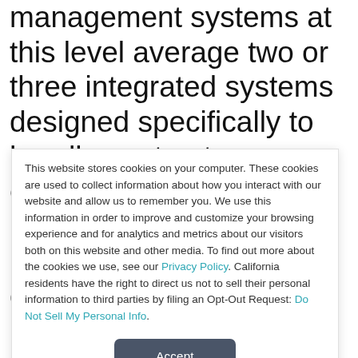management systems at this level average two or three integrated systems designed specifically to handle contracts more efficiently. This is the level where the procurement side of contract management lives, including the ability to manage strategic sourcing initiatives, direct and indirect procurement strategies, and other
This website stores cookies on your computer. These cookies are used to collect information about how you interact with our website and allow us to remember you. We use this information in order to improve and customize your browsing experience and for analytics and metrics about our visitors both on this website and other media. To find out more about the cookies we use, see our Privacy Policy. California residents have the right to direct us not to sell their personal information to third parties by filing an Opt-Out Request: Do Not Sell My Personal Info.